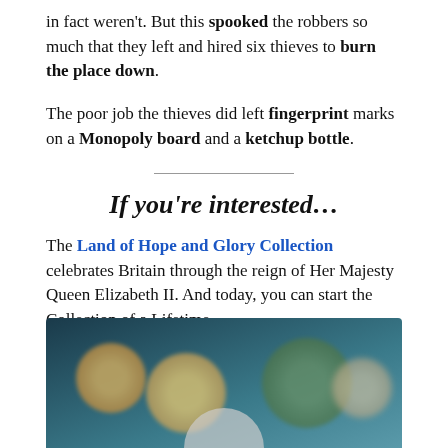in fact weren't. But this spooked the robbers so much that they left and hired six thieves to burn the place down.
The poor job the thieves did left fingerprint marks on a Monopoly board and a ketchup bottle.
If you're interested…
The Land of Hope and Glory Collection celebrates Britain through the reign of Her Majesty Queen Elizabeth II. And today, you can start the Collection of a Lifetime. Click here to secure the first Medal, featuring the Queen's Coronation for FREE >>
[Figure (photo): Blurred photograph of commemorative medals arranged together against a dark teal/blue background, with a white medal arc visible at the bottom center]